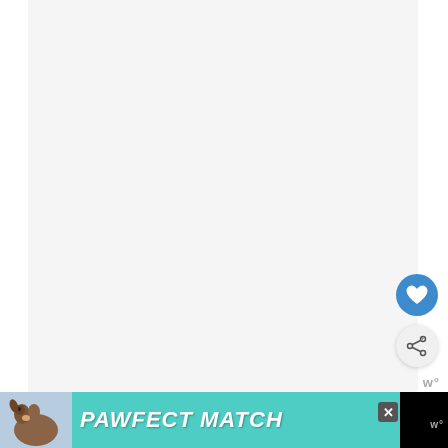[Figure (screenshot): Large light gray rectangular content/image area taking up most of the upper portion of the page, likely a video or image placeholder]
[Figure (other): Blue circular heart/like FAB button on right side]
[Figure (other): Light gray circular share FAB button on right side]
w°
If you want to make this dish more hearty, I re[commend adding chic]hion
[Figure (photo): Advertisement banner at bottom: PAWFECT MATCH ad with a dog image on teal/black background with close button]